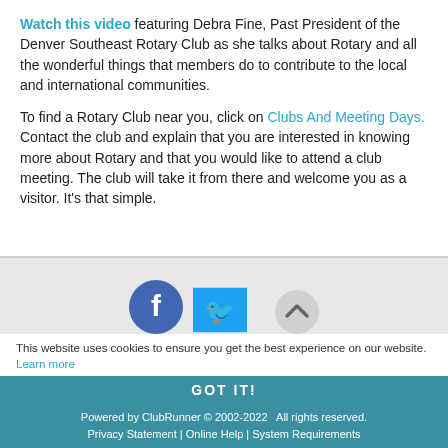Watch this video featuring Debra Fine, Past President of the Denver Southeast Rotary Club as she talks about Rotary and all the wonderful things that members do to contribute to the local and international communities.
To find a Rotary Club near you, click on Clubs And Meeting Days. Contact the club and explain that you are interested in knowing more about Rotary and that you would like to attend a club meeting.  The club will take it from there and welcome you as a visitor.  It's that simple.
[Figure (other): Facebook and Twitter social media icons; a scroll-to-top circular button on the right]
This website uses cookies to ensure you get the best experience on our website. Learn more
Powered by ClubRunner © 2002-2022  All rights reserved. Privacy Statement | Online Help | System Requirements